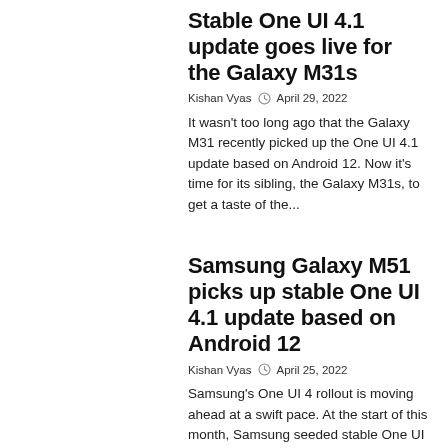Stable One UI 4.1 update goes live for the Galaxy M31s
Kishan Vyas  April 29, 2022
It wasn't too long ago that the Galaxy M31 recently picked up the One UI 4.1 update based on Android 12. Now it's time for its sibling, the Galaxy M31s, to get a taste of the...
Samsung Galaxy M51 picks up stable One UI 4.1 update based on Android 12
Kishan Vyas  April 25, 2022
Samsung's One UI 4 rollout is moving ahead at a swift pace. At the start of this month, Samsung seeded stable One UI 4.1 updates to the Galaxy A...